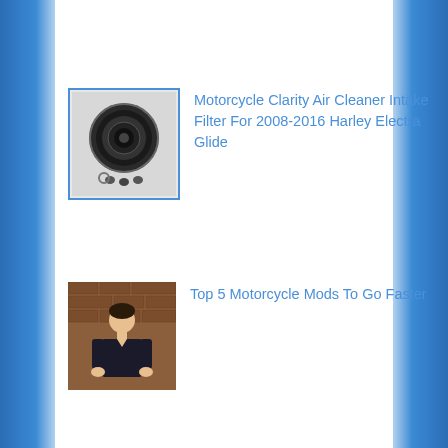[Figure (photo): Thumbnail image of a motorcycle air cleaner/intake filter product, black circular part with hardware, shown with blue border]
Motorcycle Clarity Air Cleaner Intake Filter For 2008-2016 Harley Electra Glide
[Figure (photo): Thumbnail image of a person (man in dark shirt) standing in front of a brick wall background]
Top 5 Motorcycle Mods To Go Faster